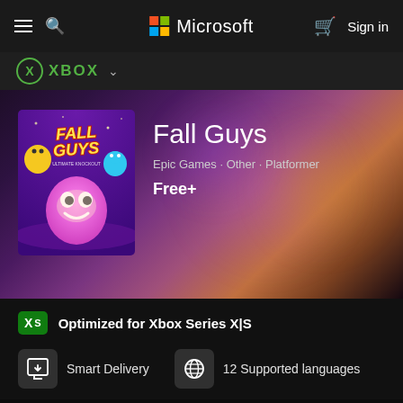Microsoft Store navigation bar with hamburger menu, search icon, Microsoft logo, cart icon, Sign in
XBOX
[Figure (screenshot): Fall Guys game cover art with colorful characters on purple/pink background]
Fall Guys
Epic Games · Other · Platformer
Free+
Optimized for Xbox Series X|S
Smart Delivery
12 Supported languages